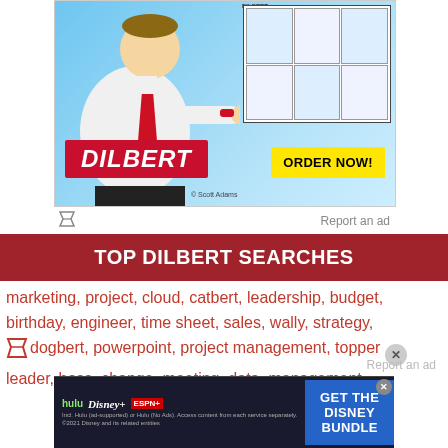[Figure (illustration): Dilbert advertisement showing the Dilbert cartoon character in white shirt and red tie holding a large monitor/screen, with a comic strip panel visible on the right, Dilbert logo in red, and an ORDER NOW! button in yellow. Copyright Scott Adams shown at bottom.]
Report an ad
TOP DILBERT SEARCHES
marketing, project, cloud, catbert, leadership, budget, birthday, engineer, time sheet, sales, wally, strategy, dogbert, powerpoint, project management, topper, leader, boss, change, meeting, data, management,
Report an ad
[Figure (illustration): Disney Bundle advertisement with Hulu, Disney+, and ESPN+ logos on dark background and 'GET THE DISNEY BUNDLE' call to action button. Fine print: Incl. Hulu (ad-supported) or Hulu (No Ads). Access content from each service separately. ©2021 Disney and its related entities]